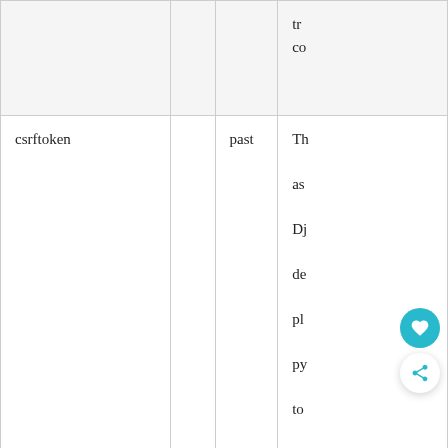|  |  |  |  |
| --- | --- | --- | --- |
|  |  |  | tr
co |
| csrftoken |  | past | Th
as
Dj
de
pl
py
to
th
ag
Sit
Fo |
| elementor |  | never | Th
us |